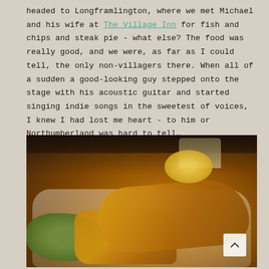headed to Longframlington, where we met Michael and his wife at The Village Inn for fish and chips and steak pie - what else? The food was really good, and we were, as far as I could tell, the only non-villagers there. When all of a sudden a good-looking guy stepped onto the stage with his acoustic guitar and started singing indie songs in the sweetest of voices, I knew I had lost me heart - to him or Northumberland was hard to tell…
[Figure (photo): Close-up photograph of a plate of fish and chips with mushy peas and a lemon wedge, on a white plate. The background is dark and blurred, suggesting a pub interior.]